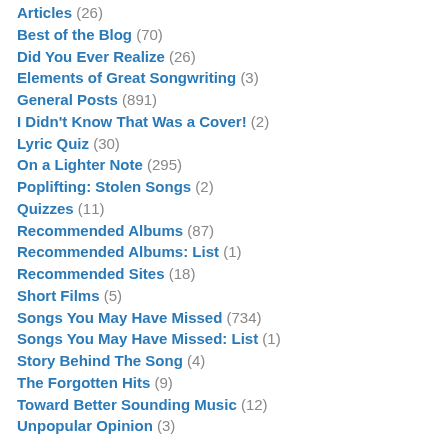Articles (26)
Best of the Blog (70)
Did You Ever Realize (26)
Elements of Great Songwriting (3)
General Posts (891)
I Didn't Know That Was a Cover! (2)
Lyric Quiz (30)
On a Lighter Note (295)
Poplifting: Stolen Songs (2)
Quizzes (11)
Recommended Albums (87)
Recommended Albums: List (1)
Recommended Sites (18)
Short Films (5)
Songs You May Have Missed (734)
Songs You May Have Missed: List (1)
Story Behind The Song (4)
The Forgotten Hits (9)
Toward Better Sounding Music (12)
Unpopular Opinion (3)